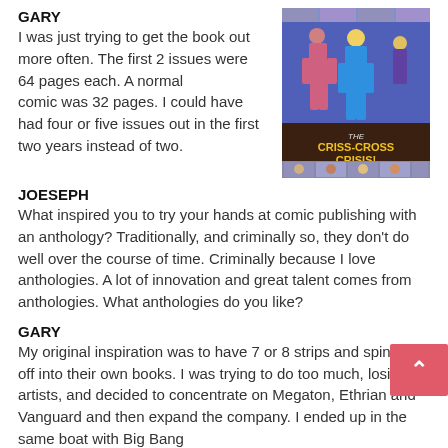GARY
I was just trying to get the book out more often. The first 2 issues were 64 pages each. A normal comic was 32 pages. I could have had four or five issues out in the first two years instead of two.
[Figure (illustration): Comic book cover showing superhero characters with the title 'CRISS-CROSS CRISIS!' on a purple/blue background]
JOESEPH
What inspired you to try your hands at comic publishing with an anthology? Traditionally, and criminally so, they don't do well over the course of time. Criminally because I love anthologies. A lot of innovation and great talent comes from anthologies. What anthologies do you like?
GARY
My original inspiration was to have 7 or 8 strips and spin them off into their own books. I was trying to do too much, losing artists, and decided to concentrate on Megaton, Ethrian and Vanguard and then expand the company. I ended up in the same boat with Big Bang